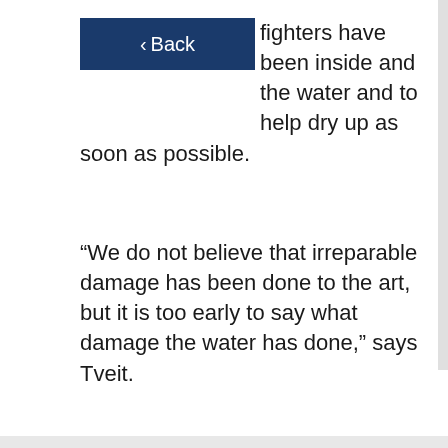[Figure (screenshot): Dark blue Back navigation button with left arrow and white text]
fighters have been inside and the water and to help dry up as soon as possible.
“We do not believe that irreparable damage has been done to the art, but it is too early to say what damage the water has done,” says Tveit.
Mariakirken has special meaning in Bergen. The church was built in the 12th century and is the oldest preserved building in Bergen.